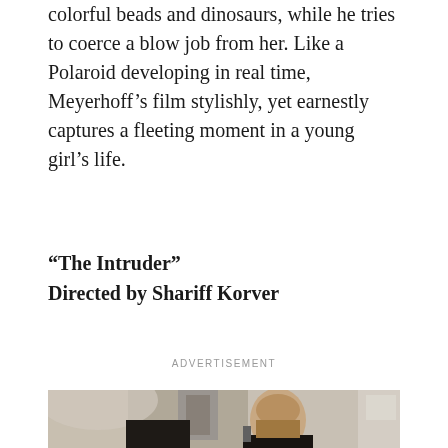colorful beads and dinosaurs, while he tries to coerce a blow job from her. Like a Polaroid developing in real time, Meyerhoff’s film stylishly, yet earnestly captures a fleeting moment in a young girl’s life.
“The Intruder”
Directed by Shariff Korver
ADVERTISEMENT
[Figure (photo): Two men in an urban setting under a bridge or overpass. One man seen from behind (shaved head) holds a gun under the chin of another man (bearded, eyes closed, wearing dark clothing). Industrial structures visible in the background.]